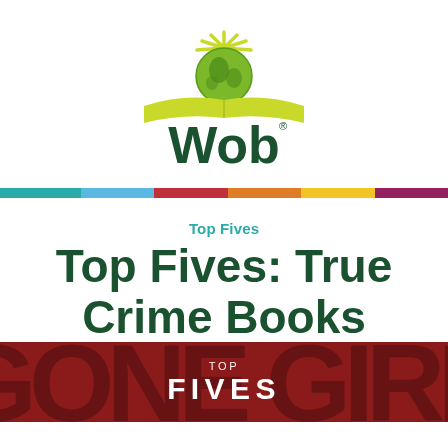[Figure (logo): Wob logo: a green globe with sun rays rising above an open book, with the word 'Wob' in dark green letters and a registered trademark symbol]
[Figure (other): Horizontal rainbow/multicolor stripe bar with segments: teal, light blue, red, orange, yellow, purple]
Top Fives
Top Fives: True Crime Books
[Figure (photo): Dark red/crimson background image with large faded text 'GONE' visible and centered text reading 'TOP FIVES' in white]